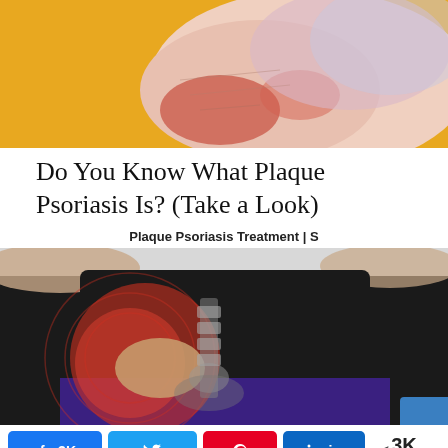[Figure (photo): Close-up of a human foot/heel showing red and pink skin with psoriasis plaques against a warm yellow/orange background]
Do You Know What Plaque Psoriasis Is? (Take a Look)
Plaque Psoriasis Treatment | S
[Figure (photo): Person in black top and purple pants holding their lower back/hip area with a red highlighted pain area and anatomical spine overlay illustration]
3K  SHARES  (Facebook, Twitter, Pinterest, LinkedIn share buttons)